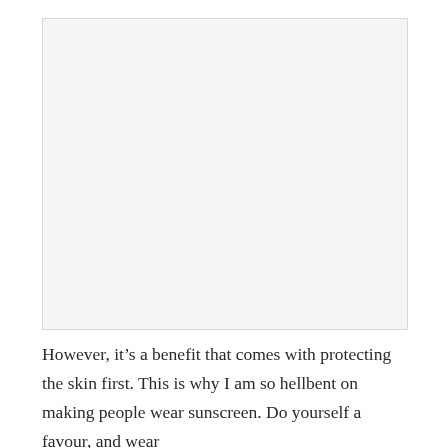[Figure (photo): Large image placeholder occupying the upper portion of the page]
However, it’s a benefit that comes with protecting the skin first. This is why I am so hellbent on making people wear sunscreen. Do yourself a favour, and wear